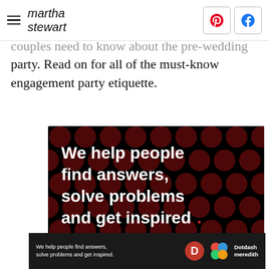martha stewart
couples need to know about the pre-wedding party. Read on for all of the must-know engagement party etiquette.
[Figure (infographic): Advertisement banner with black background and dark red polka dot pattern. Text reads: 'We help people find answers, solve problems and get inspired.' with a red period. Below is 'LEARN MORE' with a red arrow. Bottom right shows Dotdash Meredith logos.]
[Figure (infographic): Footer advertisement bar in dark background. Text: 'We help people find answers, solve problems and get inspired.' with Dotdash Meredith logo on the right.]